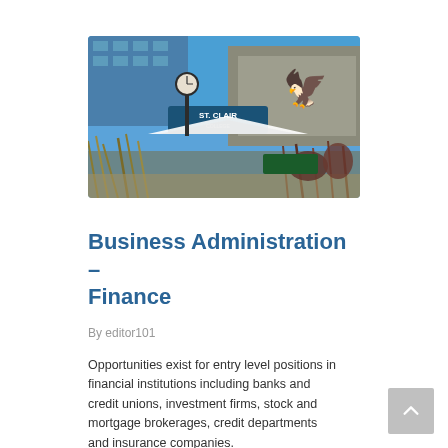[Figure (photo): Exterior photo of St. Clair College campus showing the college sign, a decorative clock on a post, a white tent canopy, ornamental grasses, a yellow griffin logo on the building, and blue sky background.]
Business Administration – Finance
By editor101
Opportunities exist for entry level positions in financial institutions including banks and credit unions, investment firms, stock and mortgage brokerages, credit departments and insurance companies.